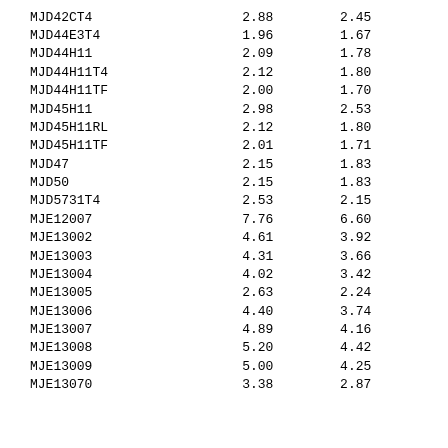| MJD42CT4 | 2.88 | 2.45 |
| MJD44E3T4 | 1.96 | 1.67 |
| MJD44H11 | 2.09 | 1.78 |
| MJD44H11T4 | 2.12 | 1.80 |
| MJD44H11TF | 2.00 | 1.70 |
| MJD45H11 | 2.98 | 2.53 |
| MJD45H11RL | 2.12 | 1.80 |
| MJD45H11TF | 2.01 | 1.71 |
| MJD47 | 2.15 | 1.83 |
| MJD50 | 2.15 | 1.83 |
| MJD5731T4 | 2.53 | 2.15 |
| MJE12007 | 7.76 | 6.60 |
| MJE13002 | 4.61 | 3.92 |
| MJE13003 | 4.31 | 3.66 |
| MJE13004 | 4.02 | 3.42 |
| MJE13005 | 2.63 | 2.24 |
| MJE13006 | 4.40 | 3.74 |
| MJE13007 | 4.89 | 4.16 |
| MJE13008 | 5.20 | 4.42 |
| MJE13009 | 5.00 | 4.25 |
| MJE13070 | 3.38 | 2.87 |